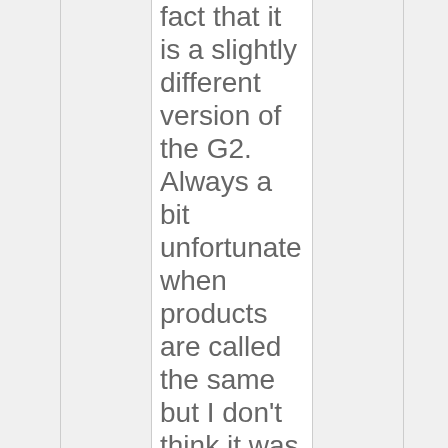fact that it is a slightly different version of the G2. Always a bit unfortunate when products are called the same but I don't think it was intentiona